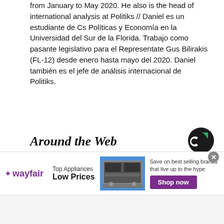from January to May 2020. He also is the head of international analysis at Politiks // Daniel es un estudiante de Cs Políticas y Economía en la Universidad del Sur de la Florida. Trabajo como pasante legislativo para el Representate Gus Bilirakis (FL-12) desde enero hasta mayo del 2020. Daniel también es el jefe de análisis internacional de Politiks.
Around the Web
[Figure (logo): Circular logo with green square segment, dark background — Taboola/content recommendation logo]
[Figure (photo): Close-up photo of a hand holding cashew nuts]
[Figure (screenshot): Wayfair advertisement banner: 'Top Appliances Low Prices' with image of stove and 'Save on best selling brands that live up to the hype' with purple Shop now button]